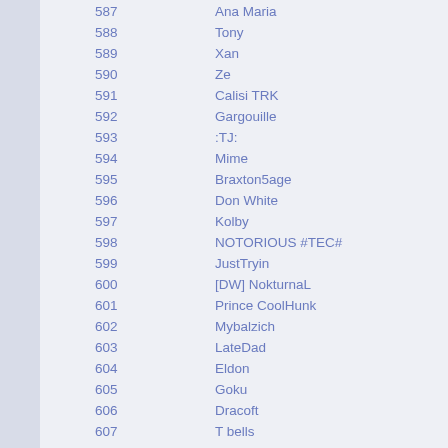| # | Name |
| --- | --- |
| 587 | Ana Maria |
| 588 | Tony |
| 589 | Xan |
| 590 | Ze |
| 591 | Calisi TRK |
| 592 | Gargouille |
| 593 | :TJ: |
| 594 | Mime |
| 595 | Braxton5age |
| 596 | Don White |
| 597 | Kolby |
| 598 | NOTORIOUS #TEC# |
| 599 | JustTryin |
| 600 | [DW] NokturnaL |
| 601 | Prince CoolHunk |
| 602 | Mybalzich |
| 603 | LateDad |
| 604 | Eldon |
| 605 | Goku |
| 606 | Dracoft |
| 607 | T bells |
| 608 | Carlos |
| 609 | Nightfury |
| 610 | Mac |
| 611 | Dags LSD |
| 612 | T-Bone |
| 613 | Floriani |
| 614 | FSE |
| 615 | Shelob |
| 616 | Polyesterangst |